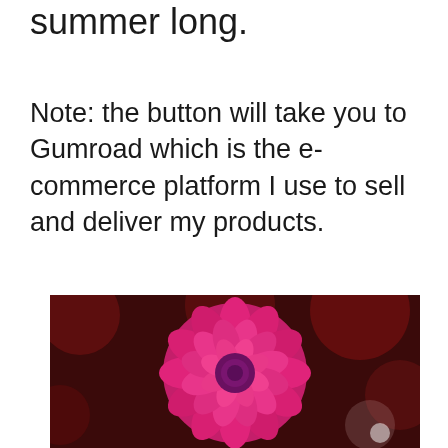summer long.
Note: the button will take you to Gumroad which is the e-commerce platform I use to sell and deliver my products.
[Figure (photo): Close-up photograph of a vibrant pink/magenta dahlia flower against a dark red bokeh background]